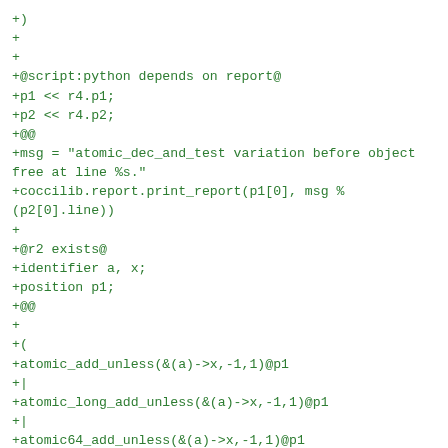+)
+
+
+@script:python depends on report@
+p1 << r4.p1;
+p2 << r4.p2;
+@@
+msg = "atomic_dec_and_test variation before object free at line %s."
+coccilib.report.print_report(p1[0], msg %
(p2[0].line))
+
+@r2 exists@
+identifier a, x;
+position p1;
+@@
+
+(
+atomic_add_unless(&(a)->x,-1,1)@p1
+|
+atomic_long_add_unless(&(a)->x,-1,1)@p1
+|
+atomic64_add_unless(&(a)->x,-1,1)@p1
+)
+
+@script:python depends on report@
+p1 << r2.p1;
+@@
+msg = "atomic_add_unless"
+coccilib.report.print_report(p1[0], msg)